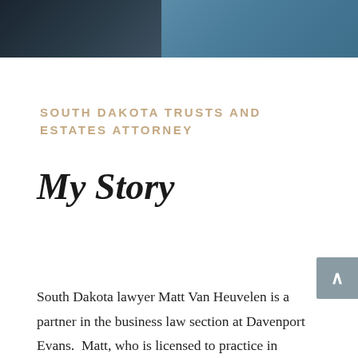[Figure (photo): Partial photo of a man in a dark jacket on the left and blue shirt on the right, cropped banner at top of page]
SOUTH DAKOTA TRUSTS AND ESTATES ATTORNEY
My Story
South Dakota lawyer Matt Van Heuvelen is a partner in the business law section at Davenport Evans.  Matt, who is licensed to practice in South Dakota and Iowa, focuses his practice on dynasty trusts and trust